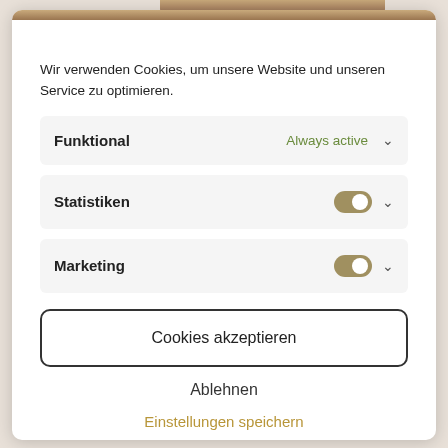[Figure (photo): Partial photo strip visible at top of modal dialog]
Wir verwenden Cookies, um unsere Website und unseren Service zu optimieren.
Funktional — Always active
Statistiken — toggle on
Marketing — toggle on
Cookies akzeptieren
Ablehnen
Einstellungen speichern
Cookie-Richtlinie   Data security   Impressum